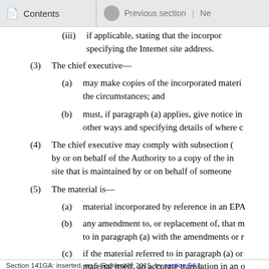Contents | Previous section | Ne
(iii) if applicable, stating that the incorpor... specifying the Internet site address.
(3) The chief executive—
(a) may make copies of the incorporated materi... the circumstances; and
(b) must, if paragraph (a) applies, give notice in... other ways and specifying details of where c...
(4) The chief executive may comply with subsection (... by or on behalf of the Authority to a copy of the in... site that is maintained by or on behalf of someone ...
(5) The material is—
(a) material incorporated by reference in an EPA...
(b) any amendment to, or replacement of, that m... to in paragraph (a) with the amendments or r...
(c) if the material referred to in paragraph (a) or... material itself, an accurate translation in an o...
(6) A failure to comply with this section does not inva...
Section 141GA: inserted, on 5 September 2015, by section 54 o...